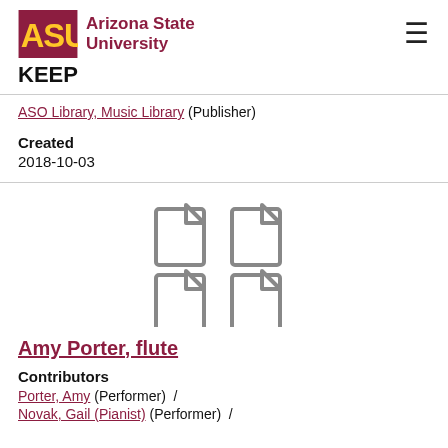ASU Arizona State University | KEEP
ASO Library, Music Library (Publisher)
Created
2018-10-03
[Figure (illustration): Four document/file icons arranged in a 2x2 grid]
Amy Porter, flute
Contributors
Porter, Amy (Performer) /
Novak, Gail (Pianist) (Performer) /